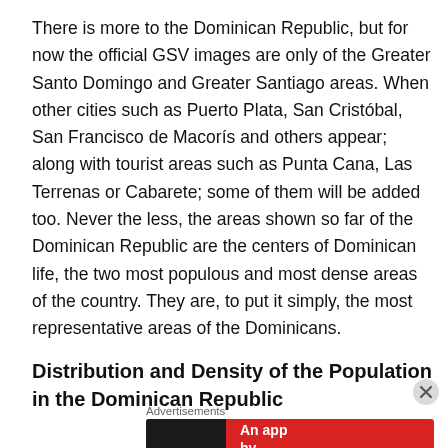There is more to the Dominican Republic, but for now the official GSV images are only of the Greater Santo Domingo and Greater Santiago areas. When other cities such as Puerto Plata, San Cristóbal, San Francisco de Macorís and others appear; along with tourist areas such as Punta Cana, Las Terrenas or Cabarete; some of them will be added too. Never the less, the areas shown so far of the Dominican Republic are the centers of Dominican life, the two most populous and most dense areas of the country. They are, to put it simply, the most representative areas of the Dominicans.
Distribution and Density of the Population in the Dominican Republic
Advertisements
[Figure (other): Advertisement banner for Pocket Casts app with red background, phone image showing 'Distributed' text, and Pocket Casts logo. Text reads: An app by listeners, for listeners.]